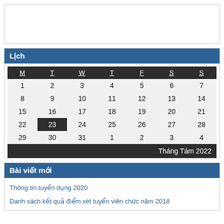Lịch
| M | T | W | T | F | S | S |
| --- | --- | --- | --- | --- | --- | --- |
| 1 | 2 | 3 | 4 | 5 | 6 | 7 |
| 8 | 9 | 10 | 11 | 12 | 13 | 14 |
| 15 | 16 | 17 | 18 | 19 | 20 | 21 |
| 22 | 23 | 24 | 25 | 26 | 27 | 28 |
| 29 | 30 | 31 | 1 | 2 | 3 | 4 |
Tháng Tám 2022
Bài viết mới
Thông tin tuyển dụng 2020
Danh sách kết quả điểm xét tuyển viên chức năm 2018